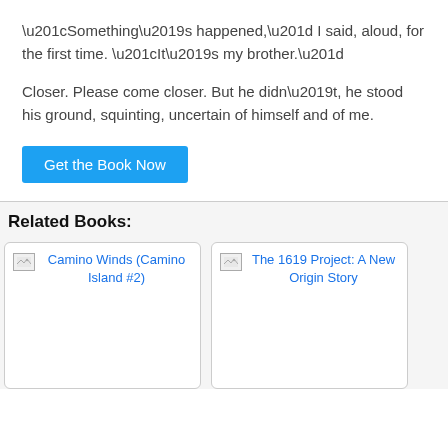“Something’s happened,” I said, aloud, for the first time. “It’s my brother.”
Closer. Please come closer. But he didn’t, he stood his ground, squinting, uncertain of himself and of me.
Get the Book Now
Related Books:
[Figure (other): Book cover placeholder for Camino Winds (Camino Island #2) - broken image with blue link text]
[Figure (other): Book cover placeholder for The 1619 Project: A New Origin Story - broken image with blue link text]